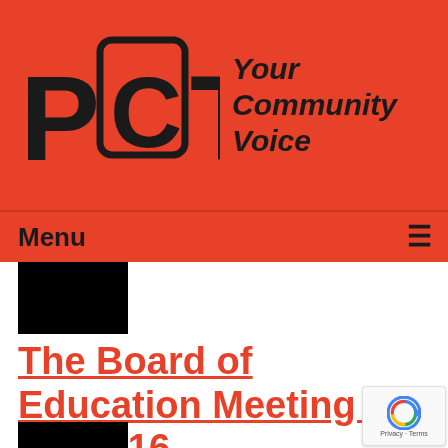[Figure (logo): PCTV logo with TV screen graphic and tagline 'Your Community Voice' on red background]
Menu ≡
[Figure (photo): Black thumbnail image placeholder]
The Board of Education Meeting of 10-18-16
Airdate: 10/18/2016
Watched: 48 times